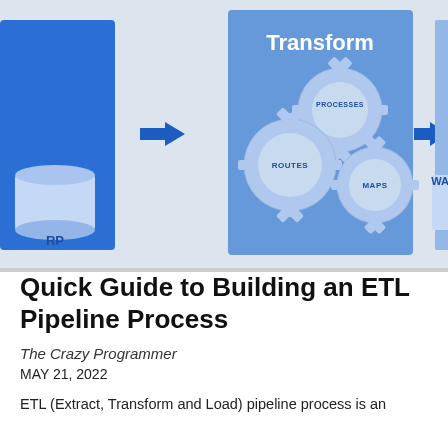[Figure (infographic): ETL pipeline diagram showing Transform stage with three interlocking gears labeled PROCESSES, ROUTES, and MAPS inside a blue panel. Blue arrows on either side connect to partially visible ERP database on the left and WA (warehouse) cylinder on the right.]
Quick Guide to Building an ETL Pipeline Process
The Crazy Programmer
MAY 21, 2022
ETL (Extract, Transform and Load) pipeline process is an